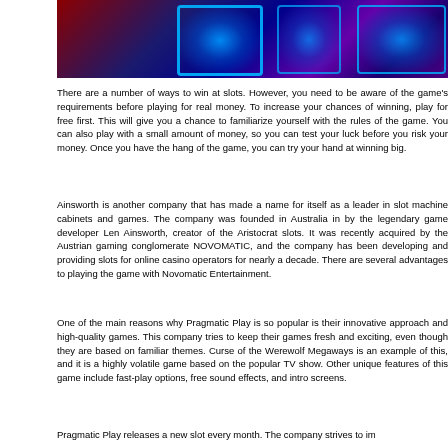[Figure (photo): Photo of slot machines with blue LED lighting in a casino setting]
There are a number of ways to win at slots. However, you need to be aware of the game's requirements before playing for real money. To increase your chances of winning, play for free first. This will give you a chance to familiarize yourself with the rules of the game. You can also play with a small amount of money, so you can test your luck before you risk your money. Once you have the hang of the game, you can try your hand at winning big.
Ainsworth is another company that has made a name for itself as a leader in slot machine cabinets and games. The company was founded in Australia in by the legendary game developer Len Ainsworth, creator of the Aristocrat slots. It was recently acquired by the Austrian gaming conglomerate NOVOMATIC, and the company has been developing and providing slots for online casino operators for nearly a decade. There are several advantages to playing the game with Novomatic Entertainment.
One of the main reasons why Pragmatic Play is so popular is their innovative approach and high-quality games. This company tries to keep their games fresh and exciting, even though they are based on familiar themes. Curse of the Werewolf Megaways is an example of this, and it is a highly volatile game based on the popular TV show. Other unique features of this game include fast-play options, free sound effects, and intro screens.
Pragmatic Play releases a new slot every month. The company strives to im